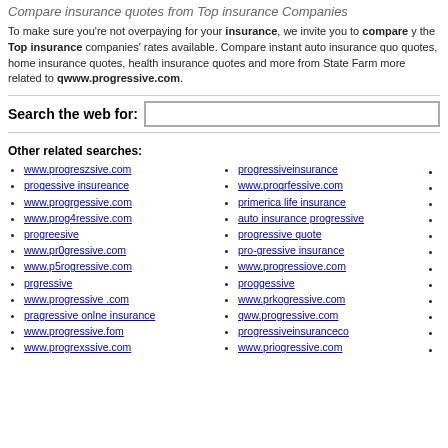Compare insurance quotes from Top insurance Companies
To make sure you're not overpaying for your insurance, we invite you to compare the Top insurance companies' rates available. Compare instant auto insurance quotes, home insurance quotes, health insurance quotes and more from State Farm more related to qwww.progressive.com.
Search the web for:
Other related searches:
www.progreszsive.com
progessive insureance
www.progrgessive.com
www.prog4ressive.com
progreesive
www.pr0gressive.com
www.p5rogressive.com
prgressive
www.progressive .com
pragressive onlne insurance
www.progressive.fom
www.progrexssive.com
progressiveinsurance
www.progrfessive.com
primerica life insurance
auto insurance progressive
progressive quote
pro-gressive insurance
www.progressiove.com
proggessive
www.prkogressive.com
qww.progressive.com
progressiveinsuranceco
www.priogressive.com